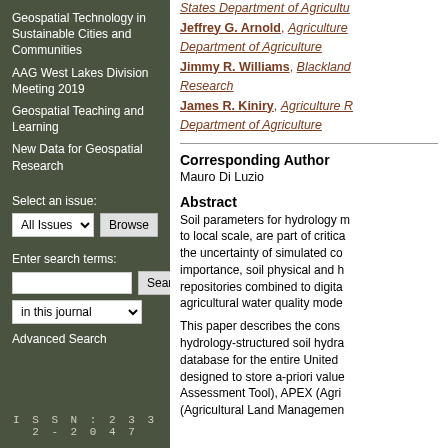Geospatial Technology in Sustainable Cities and Communities
AAG West Lakes Division Meeting 2019
Geospatial Teaching and Learning
New Data for Geospatial Research
Select an issue:
All Issues (dropdown) Browse
Enter search terms:
(search input) Search
in this journal (dropdown)
Advanced Search
ISSN: 2332-2047
States Department of Agriculture
Jeffrey G. Arnold, Agriculture Department of Agriculture
Jimmy R. Williams, Blackland Research
James R. Kiniry, Agriculture R Department of Agriculture
Corresponding Author
Mauro Di Luzio
Abstract
Soil parameters for hydrology models, from regional to local scale, are part of critical factors that determine the uncertainty of simulated components. Of particular importance, soil physical and hydraulic data repositories combined to digital mapping are used in agricultural water quality models.
This paper describes the construction of a new hydrology-structured soil hydraulic properties database for the entire United States. The database is designed to store a-priori values for SWAT (Soil Assessment Tool), APEX (Agricultural... (Agricultural Land Management...)